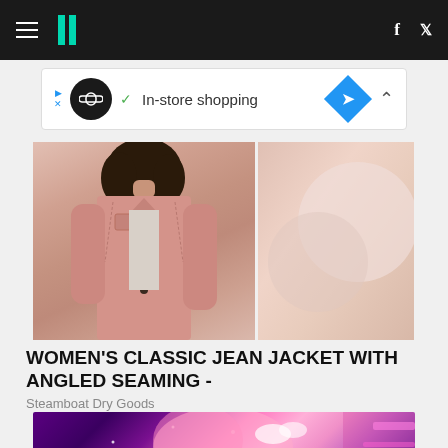HuffPost navigation bar with hamburger menu, logo, Facebook and Twitter icons
[Figure (screenshot): In-store shopping advertisement banner with infinity loop icon, checkmark, diamond navigation icon]
[Figure (photo): Woman wearing a pink classic jean jacket with angled seaming over a striped top, curly hair, product shot]
WOMEN'S CLASSIC JEAN JACKET WITH ANGLED SEAMING -
Steamboat Dry Goods
[Figure (photo): Performer on stage with pink fluffy costume and pink hair with sparkles under purple stage lighting]